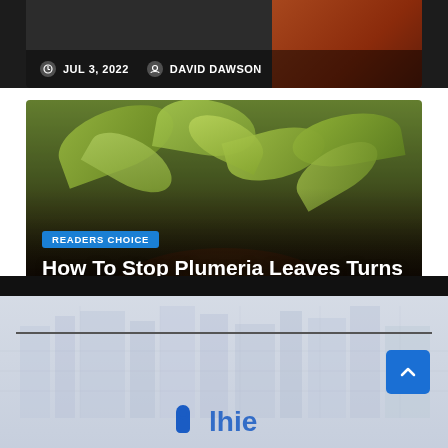JUL 3, 2022  DAVID DAWSON
[Figure (photo): Plumeria plant with yellow-green leaves in a dark soil pot, photographed outdoors]
READERS CHOICE
How To Stop Plumeria Leaves Turns Yellow
JUN 21, 2022  DAVID DAWSON
[Figure (photo): City building background image used as footer decoration]
[Figure (logo): Partial logo visible at bottom of page with circular icon and text beginning with letters]